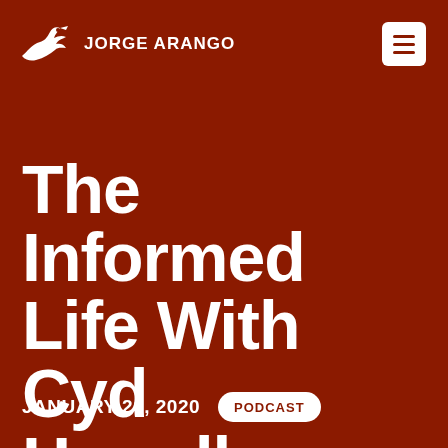JORGE ARANGO
The Informed Life With Cyd Harrell
JANUARY 20, 2020
PODCAST